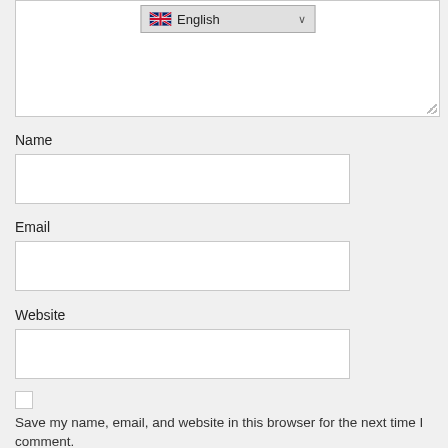[Figure (screenshot): A language selector dropdown showing a UK flag icon and the text 'English' with a chevron, inside a white textarea box with a resize handle at bottom-right.]
Name
[Figure (screenshot): Empty text input field for Name]
Email
[Figure (screenshot): Empty text input field for Email]
Website
[Figure (screenshot): Empty text input field for Website]
[Figure (screenshot): Unchecked checkbox]
Save my name, email, and website in this browser for the next time I comment.